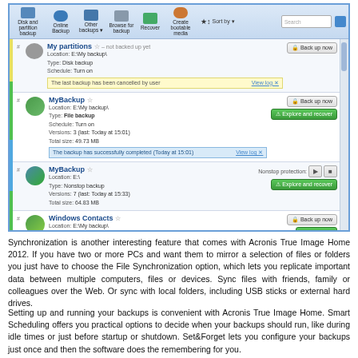[Figure (screenshot): Acronis True Image Home 2012 backup manager interface showing a toolbar with options (Disk and partition backup, Online Backup, Other backups, Browse for backup, Recover, Create bootable media, Sort by) and a list of backup entries: 'My partitions' with a yellow warning bar 'The last backup has been cancelled by user', 'MyBackup' (File backup) with blue success bar 'The backup has successfully completed (Today at 15:01)', 'MyBackup' (Nonstop backup) with nonstop protection controls, and 'Windows Contacts' (E-mail backup) with Back up now and Recover buttons.]
Synchronization is another interesting feature that comes with Acronis True Image Home 2012. If you have two or more PCs and want them to mirror a selection of files or folders you just have to choose the File Synchronization option, which lets you replicate important data between multiple computers, files or devices. Sync files with friends, family or colleagues over the Web. Or sync with local folders, including USB sticks or external hard drives.
Setting up and running your backups is convenient with Acronis True Image Home. Smart Scheduling offers you practical options to decide when your backups should run, like during idle times or just before startup or shutdown. Set&Forget lets you configure your backups just once and then the software does the remembering for you.